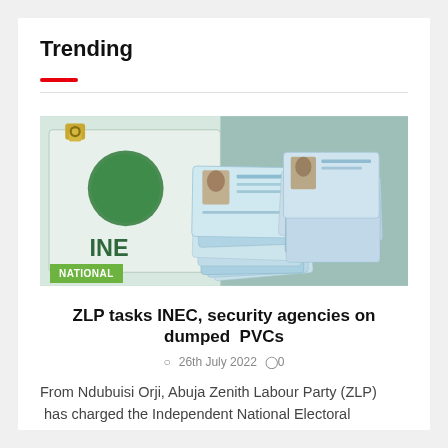Trending
[Figure (photo): Stack of INEC Permanent Voter Cards (PVCs) piled on an INEC surface with green and white colors and INEC logo visible. A golden padlock is visible in the upper left corner. A green NATIONAL badge is overlaid in the lower left.]
ZLP tasks INEC, security agencies on dumped PVCs
26th July 2022   0
From Ndubuisi Orji, Abuja Zenith Labour Party (ZLP)  has charged the Independent National Electoral Commission